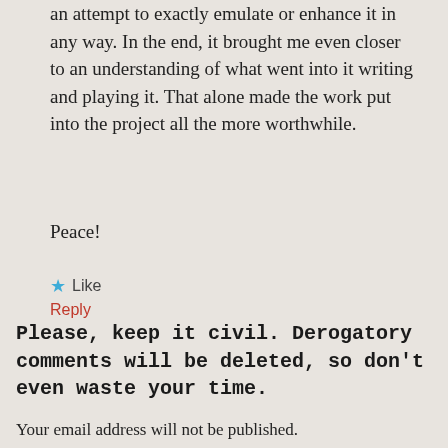an attempt to exactly emulate or enhance it in any way. In the end, it brought me even closer to an understanding of what went into it writing and playing it. That alone made the work put into the project all the more worthwhile.
Peace!
★ Like
Reply
Please, keep it civil. Derogatory comments will be deleted, so don't even waste your time.
Your email address will not be published.